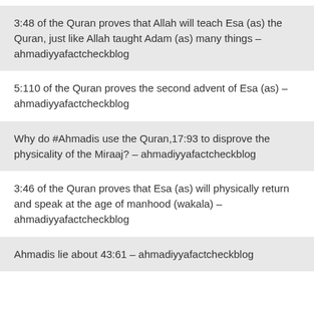3:48 of the Quran proves that Allah will teach Esa (as) the Quran, just like Allah taught Adam (as) many things – ahmadiyyafactcheckblog
5:110 of the Quran proves the second advent of Esa (as) – ahmadiyyafactcheckblog
Why do #Ahmadis use the Quran,17:93 to disprove the physicality of the Miraaj? – ahmadiyyafactcheckblog
3:46 of the Quran proves that Esa (as) will physically return and speak at the age of manhood (wakala) – ahmadiyyafactcheckblog
Ahmadis lie about 43:61 – ahmadiyyafactcheckblog